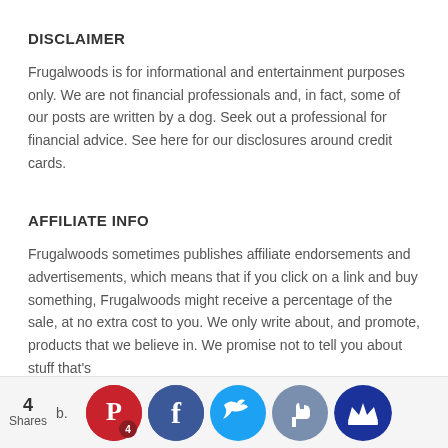DISCLAIMER
Frugalwoods is for informational and entertainment purposes only. We are not financial professionals and, in fact, some of our posts are written by a dog. Seek out a professional for financial advice. See here for our disclosures around credit cards.
AFFILIATE INFO
Frugalwoods sometimes publishes affiliate endorsements and advertisements, which means that if you click on a link and buy something, Frugalwoods might receive a percentage of the sale, at no extra cost to you. We only write about, and promote, products that we believe in. We promise not to tell you about stuff that's
4 Shares  [social share icons: Pinterest 4, Facebook, Twitter, Thumbs Up, Crown]